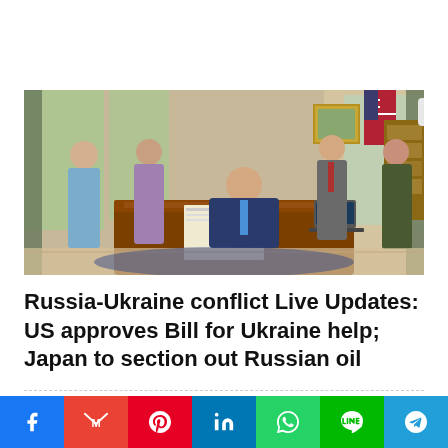[Figure (photo): A person signing documents at a large wooden desk in an ornate office (Oval Office), with several people standing around watching. An American flag is visible in the background.]
Russia-Ukraine conflict Live Updates: US approves Bill for Ukraine help; Japan to section out Russian oil
RECENT POSTS
[Figure (photo): Three thumbnail images of recent posts showing people]